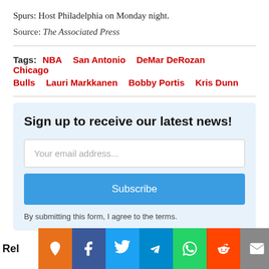Spurs: Host Philadelphia on Monday night.
Source: The Associated Press
Tags: NBA  San Antonio  DeMar DeRozan  Chicago Bulls  Lauri Markkanen  Bobby Portis  Kris Dunn
Sign up to receive our latest news!
Your email address...
Subscribe
By submitting this form, I agree to the terms.
Rel